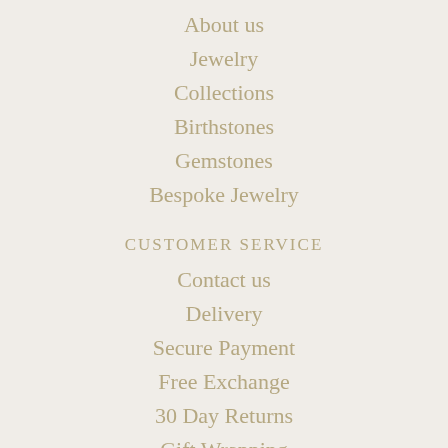About us
Jewelry
Collections
Birthstones
Gemstones
Bespoke Jewelry
CUSTOMER SERVICE
Contact us
Delivery
Secure Payment
Free Exchange
30 Day Returns
Gift Wrapping
Packaging
NEED SOME HELP?